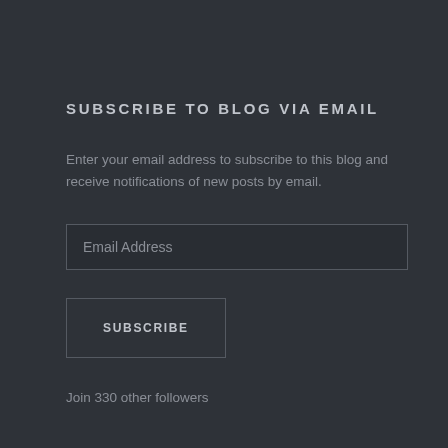SUBSCRIBE TO BLOG VIA EMAIL
Enter your email address to subscribe to this blog and receive notifications of new posts by email.
Email Address
SUBSCRIBE
Join 330 other followers